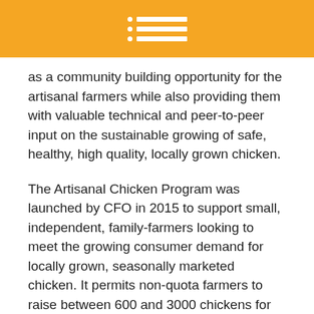[Header bar with menu icon]
as a community building opportunity for the artisanal farmers while also providing them with valuable technical and peer-to-peer input on the sustainable growing of safe, healthy, high quality, locally grown chicken.
The Artisanal Chicken Program was launched by CFO in 2015 to support small, independent, family-farmers looking to meet the growing consumer demand for locally grown, seasonally marketed chicken. It permits non-quota farmers to raise between 600 and 3000 chickens for select markets. CFO approved over 100 new farmers for entry to the program in its first year.
“We are extremely pleased with how effective this program has been in both attracting a large number of very engaged